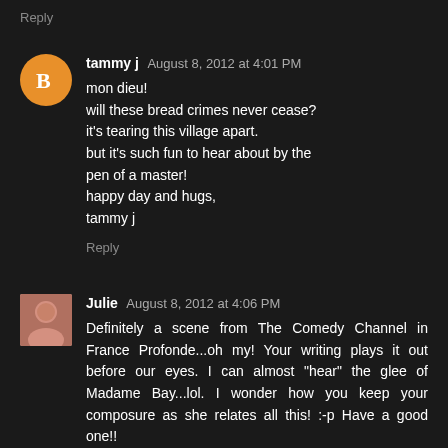Reply
tammy j  August 8, 2012 at 4:01 PM
mon dieu!
will these bread crimes never cease?
it's tearing this village apart.
but it's such fun to hear about by the pen of a master!
happy day and hugs,
tammy j
Reply
Julie  August 8, 2012 at 4:06 PM
Definitely a scene from The Comedy Channel in France Profonde...oh my! Your writing plays it out before our eyes. I can almost "hear" the glee of Madame Bay...lol. I wonder how you keep your composure as she relates all this! :-p Have a good one!!
Reply